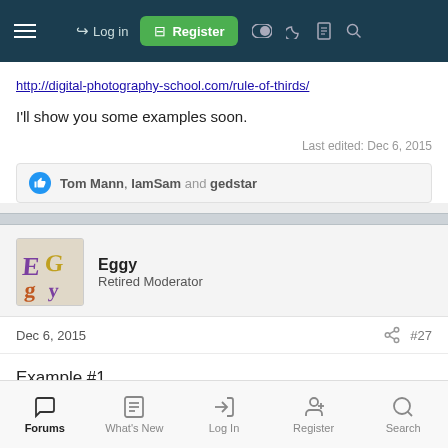Log in | Register
http://digital-photography-school.com/rule-of-thirds/
I'll show you some examples soon.
Last edited: Dec 6, 2015
Tom Mann, IamSam and gedstar
Eggy
Retired Moderator
Dec 6, 2015
#27
Example #1
Forums | What's New | Log In | Register | Search